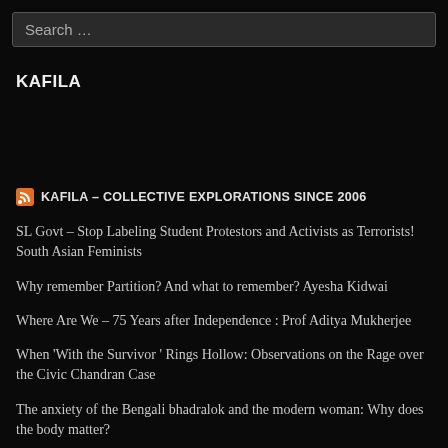Search ...
KAFILA
KAFILA – COLLECTIVE EXPLORATIONS SINCE 2006
SL Govt – Stop Labeling Student Protestors and Activists as Terrorists! South Asian Feminists
Why remember Partition? And what to remember? Ayesha Kidwai
Where Are We – 75 Years after Independence : Prof Aditya Mukherjee
When 'With the Survivor ' Rings Hollow: Observations on the Rage over the Civic Chandran Case
The anxiety of the Bengali bhadralok and the modern woman: Why does the body matter?